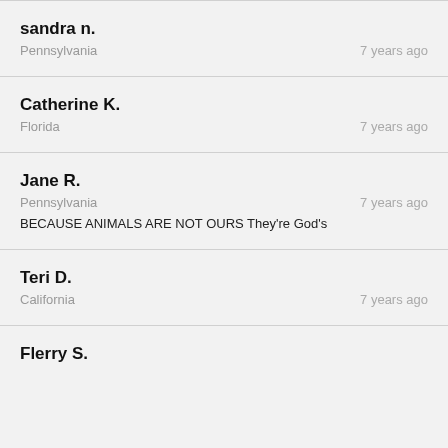sandra n.
Pennsylvania · 7 years ago
Catherine K.
Florida · 7 years ago
Jane R.
Pennsylvania · 7 years ago
BECAUSE ANIMALS ARE NOT OURS They're God's
Teri D.
California · 7 years ago
Flerry S.